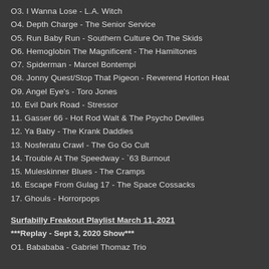03. I Wanna Lose - L.A. Witch
04. Depth Charge - The Senior Service
05. Run Baby Run - Southern Culture On The Skids
06. Hemoglobin The Magnificent - The Hamiltones
07. Spiderman - Marcel Bontempi
08. Jonny Quest/Stop That Pigeon - Reverend Horton Heat
09. Angel Eye's - Toro Jones
10. Evil Dark Road - Stressor
11. Gasser 66 - Hot Rod Walt & The Psycho Devilles
12. Ya Baby - The Krank Daddies
13. Nosferatu Crawl - The Go Go Cult
14. Trouble At The Speedway - '63 Burnout
15. Muleskinner Blues - The Cramps
16. Escape From Gulag 17 - The Space Cossacks
17. Ghouls - Horrorpops
Surfabilly Freakout Playlist March 11, 2021
***Replay - Sept 3, 2020 Show***
01. Babababa - Gabriel Thomaz Trio